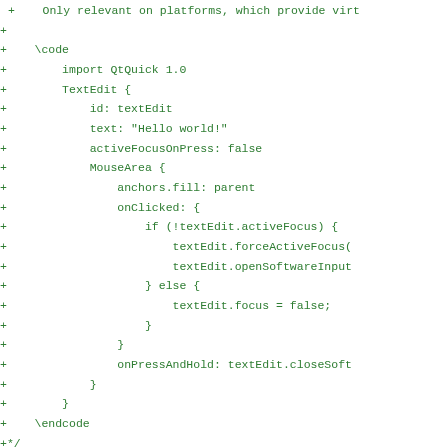+    Only relevant on platforms, which provide virt
+
+    \code
+        import QtQuick 1.0
+        TextEdit {
+            id: textEdit
+            text: "Hello world!"
+            activeFocusOnPress: false
+            MouseArea {
+                anchors.fill: parent
+                onClicked: {
+                    if (!textEdit.activeFocus) {
+                        textEdit.forceActiveFocus(
+                        textEdit.openSoftwareInput
+                    } else {
+                        textEdit.focus = false;
+                    }
+                }
+                onPressAndHold: textEdit.closeSoft
+            }
+        }
+    \endcode
+*/
+void QDeclarativeTextEdit::openSoftwareInputPanel(
+{
+    QEvent event(QEvent::RequestSoftwareInputPanel
+    if (qApp) {
+        if (QGraphicsView * view = qobject_cast<QG
+            if (view->scene() && view->scene() ==
+                QApplication::sendEvent(view, &eve